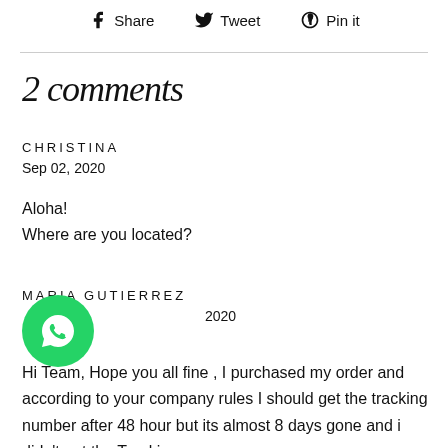Share  Tweet  Pin it
2 comments
CHRISTINA
Sep 02, 2020
Aloha!
Where are you located?
MARIA GUTIERREZ
[date] 2020
[Figure (logo): WhatsApp button icon (green circle with phone handset)]
Hi Team, Hope you all fine , I purchased my order and according to your company rules I should get the tracking number after 48 hour but its almost 8 days gone and i didn't get the Tracking